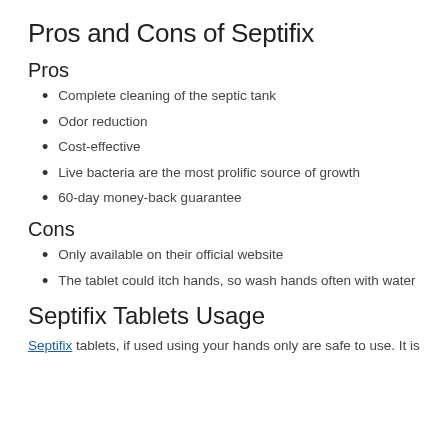Pros and Cons of Septifix
Pros
Complete cleaning of the septic tank
Odor reduction
Cost-effective
Live bacteria are the most prolific source of growth
60-day money-back guarantee
Cons
Only available on their official website
The tablet could itch hands, so wash hands often with water
Septifix Tablets Usage
Septifix tablets, if used using your hands only are safe to use. It is